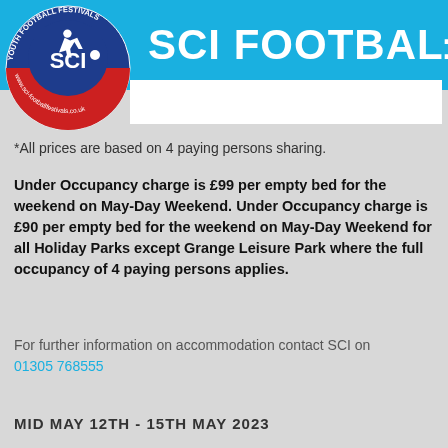[Figure (logo): SCI Youth Football Festivals circular logo with running footballer, red and blue colors, text around border reading YOUTH FOOTBALL FESTIVALS and www.sci-footballfestivals.co.uk]
SCI FOOTBALL F
*All prices are based on 4 paying persons sharing.
Under Occupancy charge is £99 per empty bed for the weekend on May-Day Weekend. Under Occupancy charge is £90 per empty bed for the weekend on May-Day Weekend for all Holiday Parks except Grange Leisure Park where the full occupancy of 4 paying persons applies.
For further information on accommodation contact SCI on 01305 768555
MID MAY 12TH - 15TH MAY 2023